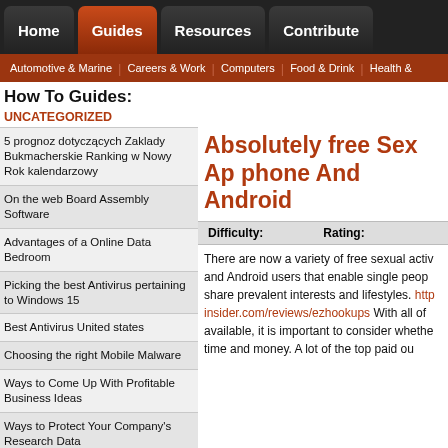Home | Guides | Resources | Contribute
Automotive & Marine | Careers & Work | Computers | Food & Drink | Health &
How To Guides:
UNCATEGORIZED
5 prognoz dotyczących Zaklady Bukmacherskie Ranking w Nowy Rok kalendarzowy
On the web Board Assembly Software
Advantages of a Online Data Bedroom
Picking the best Antivirus pertaining to Windows 15
Best Antivirus United states
Choosing the right Mobile Malware
Ways to Come Up With Profitable Business Ideas
Ways to Protect Your Company's Research Data
Absolutely free Sex Ap phone And Android
| Difficulty: | Rating: |
| --- | --- |
There are now a variety of free sexual activ and Android users that enable single peop share prevalent interests and lifestyles. http insider.com/reviews/ezhookups With all of available, it is important to consider whethe time and money. A lot of the top paid ou